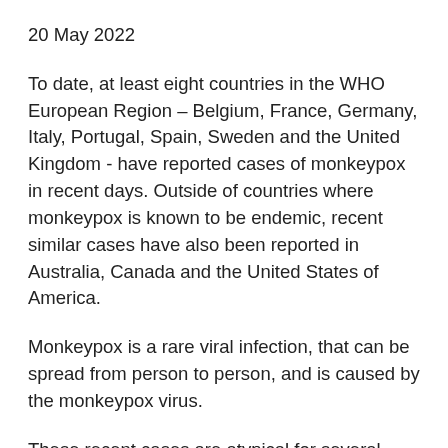20 May 2022
To date, at least eight countries in the WHO European Region – Belgium, France, Germany, Italy, Portugal, Spain, Sweden and the United Kingdom - have reported cases of monkeypox in recent days. Outside of countries where monkeypox is known to be endemic, recent similar cases have also been reported in Australia, Canada and the United States of America.
Monkeypox is a rare viral infection, that can be spread from person to person, and is caused by the monkeypox virus.
These recent cases are atypical for several reasons. Firstly, because in this instance all but one of the recent cases have no relevant travel history to areas where monkeypox is endemic, in West Africa or Central Africa. Secondly, because most of the initial cases found are being detected through sexual health services and are